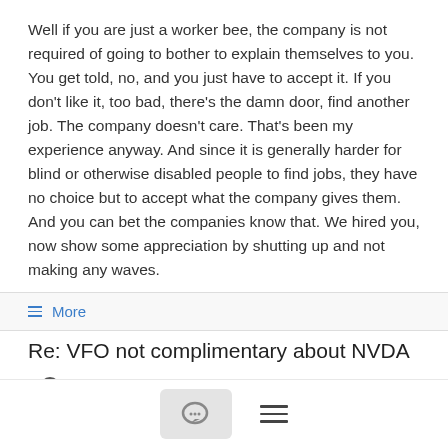Well if you are just a worker bee, the company is not required of going to bother to explain themselves to you. You get told, no, and you just have to accept it. If you don't like it, too bad, there's the damn door, find another job. The company doesn't care. That's been my experience anyway. And since it is generally harder for blind or otherwise disabled people to find jobs, they have no choice but to accept what the company gives them. And you can bet the companies know that. We hired you, now show some appreciation by shutting up and not making any waves.
≡ More
Re: VFO not complimentary about NVDA
Shaun Everiss  7/18/18
Another thing with opensource is people like sourceforge and sadly other software that is free bundle things with x software.